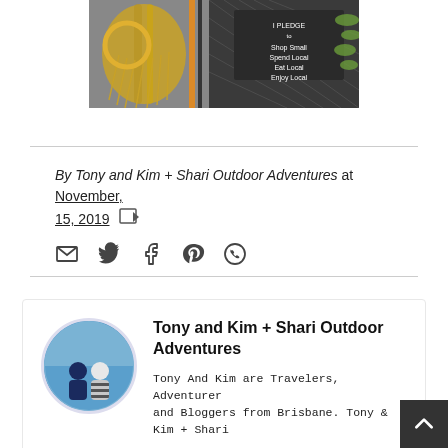[Figure (photo): Market scene with macrame bags, rope items, and a sign reading 'I Pledge to Shop Small, Spend Local, Eat Local, Enjoy Local']
By Tony and Kim + Shari Outdoor Adventures at November, 15, 2019
[Figure (infographic): Social share icons: email, Twitter, Facebook, Pinterest, WhatsApp]
Tony and Kim + Shari Outdoor Adventures
Tony And Kim are Travelers, Adventurers and Bloggers from Brisbane. Tony & Kim + Shari